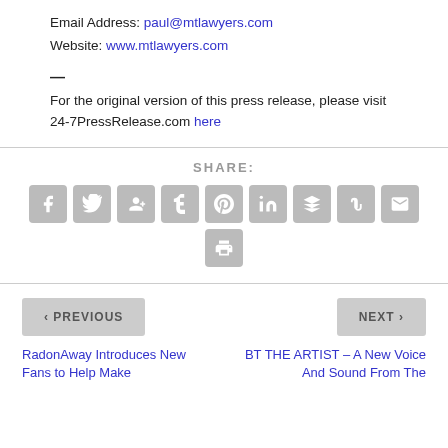Email Address: paul@mtlawyers.com
Website: www.mtlawyers.com
—
For the original version of this press release, please visit 24-7PressRelease.com here
[Figure (infographic): Social share buttons row: Facebook, Twitter, Google+, Tumblr, Pinterest, LinkedIn, Buffer, StumbleUpon, Email, and Print icons in gray rounded square buttons]
< PREVIOUS
NEXT >
RadonAway Introduces New Fans to Help Make
BT THE ARTIST – A New Voice And Sound From The